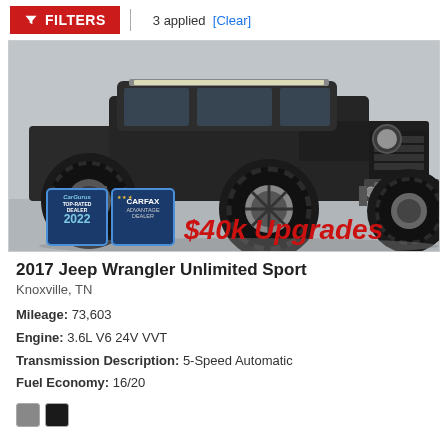FILTERS | 3 applied [Clear]
[Figure (photo): Dark blue/black modified 2017 Jeep Wrangler Unlimited Sport with large off-road tires, aftermarket bumpers, LED light bar, and winch. CarGurus Top-Rated Dealer 2022 badge and Carfax Advantage Dealer badge visible in lower left. Red text overlay reads '$40k Upgrades'.]
2017 Jeep Wrangler Unlimited Sport
Knoxville, TN
Mileage: 73,603
Engine: 3.6L V6 24V VVT
Transmission Description: 5-Speed Automatic
Fuel Economy: 16/20